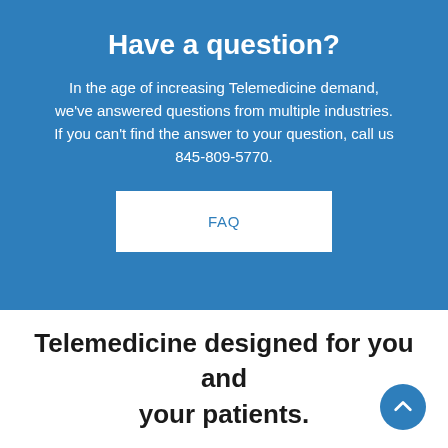Have a question?
In the age of increasing Telemedicine demand, we've answered questions from multiple industries. If you can't find the answer to your question, call us 845-809-5770.
FAQ
Telemedicine designed for you and your patients.